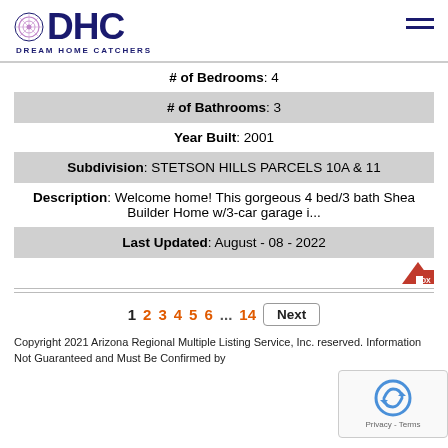DHC DREAM HOME CATCHERS
| # of Bedrooms: 4 |
| # of Bathrooms: 3 |
| Year Built: 2001 |
| Subdivision: STETSON HILLS PARCELS 10A & 11 |
| Description: Welcome home! This gorgeous 4 bed/3 bath Shea Builder Home w/3-car garage i... |
| Last Updated: August - 08 - 2022 |
1  2  3  4  5  6  ...  14  Next
Copyright 2021 Arizona Regional Multiple Listing Service, Inc. reserved. Information Not Guaranteed and Must Be Confirmed by